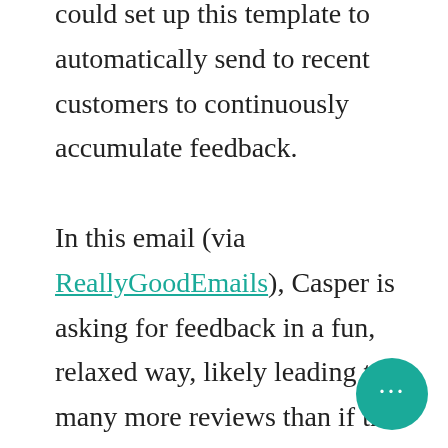could set up this template to automatically send to recent customers to continuously accumulate feedback.

In this email (via ReallyGoodEmails), Casper is asking for feedback in a fun, relaxed way, likely leading to many more reviews than if this was a robotic, plain-text message. For example, how many emails have you received that say something simple like “Give us a review.” Instead, Casper asks “So, how did you sleep?” This question plays references the action you took with their